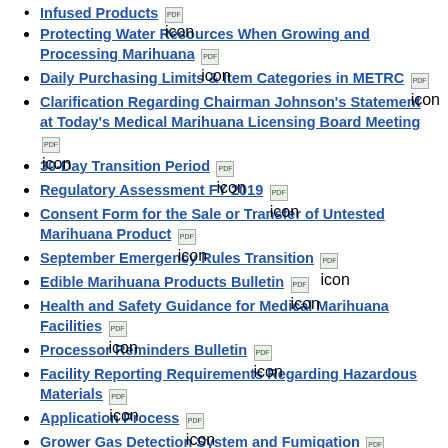Infused Products [PDF icon]
Protecting Water Resources When Growing and Processing Marihuana [PDF icon]
Daily Purchasing Limits & Item Categories in METRC [PDF icon]
Clarification Regarding Chairman Johnson's Statement at Today's Medical Marihuana Licensing Board Meeting [PDF icon]
30-Day Transition Period [PDF icon]
Regulatory Assessment FY 2019 [PDF icon]
Consent Form for the Sale or Transfer of Untested Marihuana Product [PDF icon]
September Emergency Rules Transition [PDF icon]
Edible Marihuana Products Bulletin [PDF icon]
Health and Safety Guidance for Medical Marihuana Facilities [PDF icon]
Processor Reminders Bulletin [PDF icon]
Facility Reporting Requirements Regarding Hazardous Materials [PDF icon]
Application Process [PDF icon]
Grower Gas Detection System and Fumigation [PDF icon]